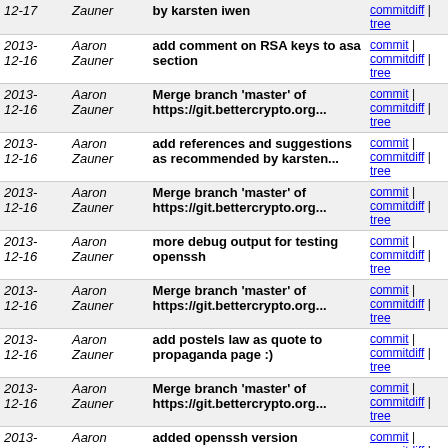| Date | Author | Message | Links |
| --- | --- | --- | --- |
| 2013-12-17 | Aaron Zauner | by karsten iwen | commitdiff | tree |
| 2013-12-16 | Aaron Zauner | add comment on RSA keys to asa section | commit | commitdiff | tree |
| 2013-12-16 | Aaron Zauner | Merge branch 'master' of https://git.bettercrypto.org... | commit | commitdiff | tree |
| 2013-12-16 | Aaron Zauner | add references and suggestions as recommended by karsten... | commit | commitdiff | tree |
| 2013-12-16 | Aaron Zauner | Merge branch 'master' of https://git.bettercrypto.org... | commit | commitdiff | tree |
| 2013-12-16 | Aaron Zauner | more debug output for testing openssh | commit | commitdiff | tree |
| 2013-12-16 | Aaron Zauner | Merge branch 'master' of https://git.bettercrypto.org... | commit | commitdiff | tree |
| 2013-12-16 | Aaron Zauner | add postels law as quote to propaganda page :) | commit | commitdiff | tree |
| 2013-12-16 | Aaron Zauner | Merge branch 'master' of https://git.bettercrypto.org... | commit | commitdiff | tree |
| 2013-12-16 | Aaron Zauner | added openssh version | commit | commitdiff | tree |
| 2013-12-16 | Aaron Zauner | added WP links for malleability and CTS | commit | commitdiff | tree |
| 2013-12-16 | Aaron Zauner | added links on RNGs and TLS attacks | commit | commitdiff | tree |
| 2013-12-12 | Aaron Zauner | extend bold text to state Note on nomenclature instead... | commit | commitdiff | tree |
| 2013-12-12 | Aaron Zauner | extend bold text to state Note on nomenclature instead... | commit | commitdiff | tree |